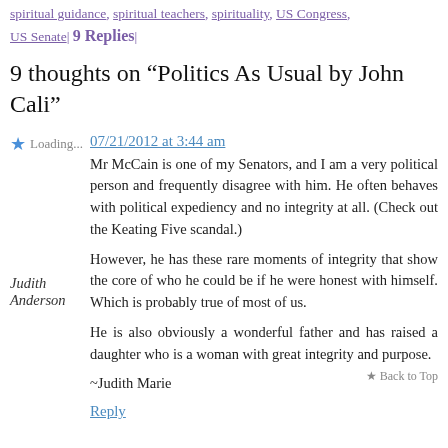spiritual guidance, spiritual teachers, spirituality, US Congress, US Senate | 9 Replies |
9 thoughts on “Politics As Usual by John Cali”
Loading... 07/21/2012 at 3:44 am
Judith Anderson
Mr McCain is one of my Senators, and I am a very political person and frequently disagree with him. He often behaves with political expediency and no integrity at all. (Check out the Keating Five scandal.)

However, he has these rare moments of integrity that show the core of who he could be if he were honest with himself. Which is probably true of most of us.

He is also obviously a wonderful father and has raised a daughter who is a woman with great integrity and purpose.

~Judith Marie
Reply